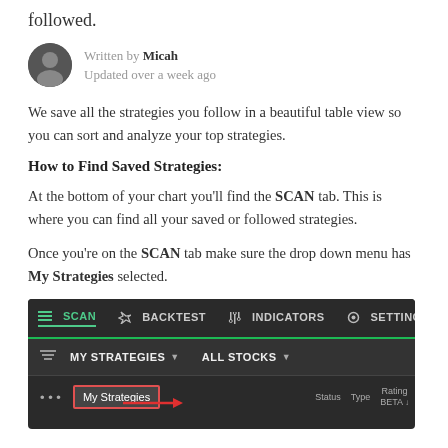followed.
Written by Micah
Updated over a week ago
We save all the strategies you follow in a beautiful table view so you can sort and analyze your top strategies.
How to Find Saved Strategies:
At the bottom of your chart you'll find the SCAN tab. This is where you can find all your saved or followed strategies.
Once you're on the SCAN tab make sure the drop down menu has My Strategies selected.
[Figure (screenshot): Screenshot of a chart platform's bottom tab bar showing SCAN, BACKTEST, INDICATORS, SETTINGS tabs. SCAN tab is active (highlighted in green). Below it shows MY STRATEGIES dropdown and ALL STOCKS dropdown. A row below shows '...' button and 'My Strategies' button highlighted with a red border, with a red arrow pointing to it. Column headers for Status, Type, Rating BETA are visible.]